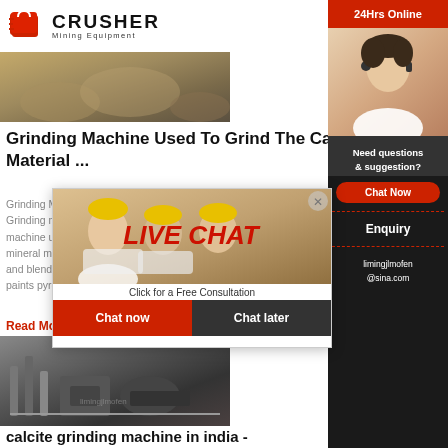[Figure (logo): Crusher Mining Equipment logo with red shopping bag icon and bold CRUSHER text]
[Figure (photo): Aerial/ground-level photo of crushed stone/calcite material]
Grinding Machine Used To Grind The Calcite Material ...
Grinding Machine Used To Grind The Calcite Ma... Grinding ma... machine use... mineral mat... and blend m... paints pyro...
Read More
[Figure (photo): Industrial calcite grinding machine facility in India]
calcite grinding machine in india -
[Figure (screenshot): Live Chat overlay popup with workers in hard hats, LIVE CHAT text in red italic, Click for a Free Consultation subtitle, Chat now and Chat later buttons]
[Figure (photo): Sidebar: female customer service representative with headset, 24Hrs Online banner, Need questions & suggestion chat button, Enquiry link, limingjlmofen@sina.com email]